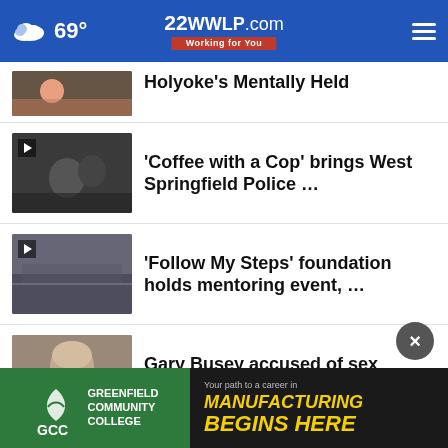69° | 22WWLP.com Working for You
Holyoke's Mentally Held
'Coffee with a Cop' brings West Springfield Police …
'Follow My Steps' foundation holds mentoring event, …
Gary Busey accused of sex offenses at New Jersey …
More Stories ›
[Figure (screenshot): GCC Greenfield Community College ad banner — Your path to a career in Manufacturing Begins Here]